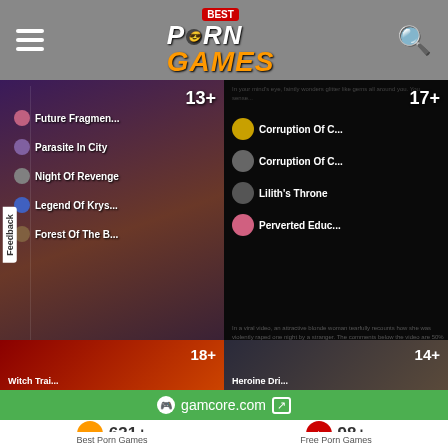Best Porn Games - header navigation
[Figure (screenshot): Left game panel showing anime games list: Future Fragmen..., Parasite In City, Night Of Revenge, Legend Of Krys..., Forest Of The B... with 13+ age badge]
[Figure (screenshot): Right game panel showing: Corruption Of C..., Corruption Of C..., Lilith's Throne, Perverted Educ..., Strive For Power with 17+ age badge]
PARODY PORN GAMES
FIGHTING PORN GAMES
[Figure (screenshot): Bottom left game panel with 18+ badge]
[Figure (screenshot): Bottom right game panel with 14+ badge]
gamcore.com
631+
Best Porn Games
98+
Free Porn Games